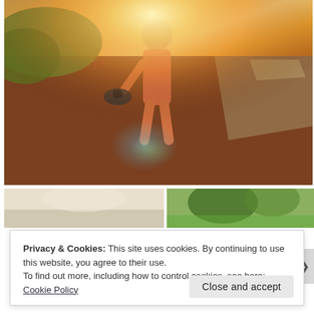[Figure (photo): A person walking away on a path in bright sunlight, wearing an orange/red dress and carrying a dark hat by their side. Sun flare visible, greenery on the left, road markings visible on the right. Warm golden tones.]
[Figure (photo): Two smaller thumbnail photos side by side below the main image: left is a light/pale outdoor scene, right shows trees with sunlight filtering through.]
Privacy & Cookies: This site uses cookies. By continuing to use this website, you agree to their use.
To find out more, including how to control cookies, see here: Cookie Policy